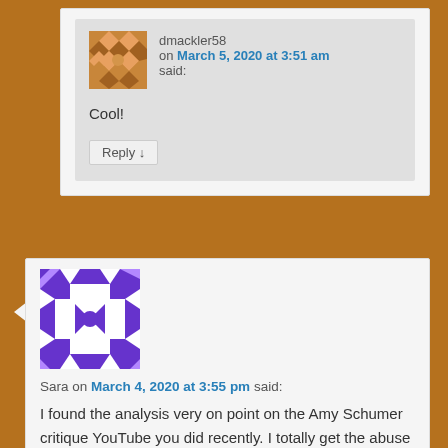dmackler58 on March 5, 2020 at 3:51 am said:
Cool!
Reply ↓
Sara on March 4, 2020 at 3:55 pm said:
I found the analysis very on point on the Amy Schumer critique YouTube you did recently. I totally get the abuse there. Maybe it's because of that video that I've been noticing